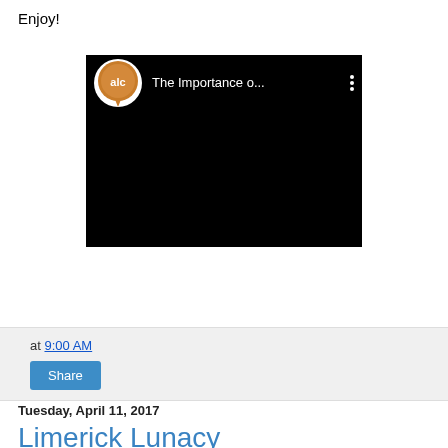Enjoy!
[Figure (screenshot): Embedded YouTube video player showing a video titled 'The Importance o...' with an ALC (orange speech bubble with 'alc' text) channel logo on a black background]
at 9:00 AM
Share
Tuesday, April 11, 2017
Limerick Lunacy